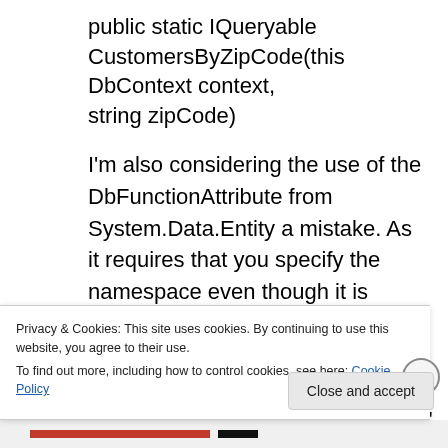public static IQueryable CustomersByZipCode(this DbContext context, string zipCode)
I'm also considering the use of the DbFunctionAttribute from System.Data.Entity a mistake. As it requires that you specify the namespace even though it is irrelevant for the FunctionsConvention. The function is always placed in the 'ConceptualModel.Container.Name' namespace. Which by the way is different from
Privacy & Cookies: This site uses cookies. By continuing to use this website, you agree to their use.
To find out more, including how to control cookies, see here: Cookie Policy